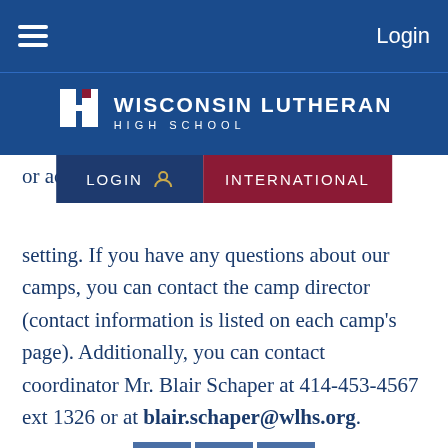Login
[Figure (logo): Wisconsin Lutheran High School logo with shield icon and text]
[Figure (screenshot): LOGIN and INTERNATIONAL navigation buttons]
or activities. If you have any questions about our camps, you can contact the camp director (contact information is listed on each camp's page). Additionally, you can contact coordinator Mr. Blair Schaper at 414-453-4567 ext 1326 or at blair.schaper@wlhs.org.
[Figure (infographic): Three blue icon boxes: location pin, question mark, pencil/edit]
Questions about registration for camps can be directed to WLHS Central Office at 414-453-